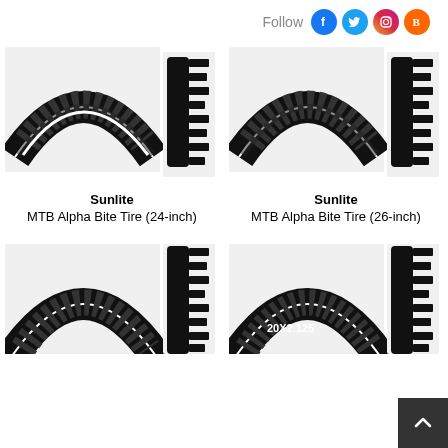Follow [social icons: Facebook, Twitter, Instagram, Blogger]
[Figure (photo): Sunlite MTB Alpha Bite Tire 24-inch — two views: tread side and sidewall cross-section]
Sunlite
MTB Alpha Bite Tire (24-inch)
[Figure (photo): Sunlite MTB Alpha Bite Tire 26-inch — two views: tread side and sidewall cross-section]
Sunlite
MTB Alpha Bite Tire (26-inch)
[Figure (photo): Sunlite MTB tire (24-inch or similar) — two views, partially cropped at bottom of page]
[Figure (photo): Sunlite MTB tire labeled 20x2.125 — two views, partially cropped at bottom of page]